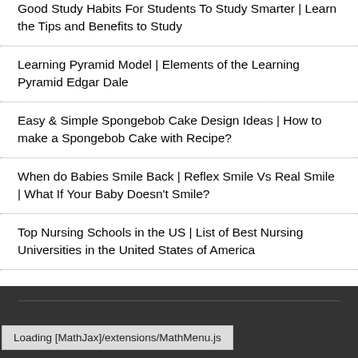Good Study Habits For Students To Study Smarter | Learn the Tips and Benefits to Study
Learning Pyramid Model | Elements of the Learning Pyramid Edgar Dale
Easy & Simple Spongebob Cake Design Ideas | How to make a Spongebob Cake with Recipe?
When do Babies Smile Back | Reflex Smile Vs Real Smile | What If Your Baby Doesn't Smile?
Top Nursing Schools in the US | List of Best Nursing Universities in the United States of America
Loading [MathJax]/extensions/MathMenu.js